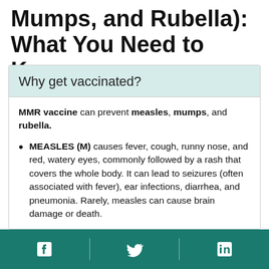Mumps, and Rubella): What You Need to Know
Why get vaccinated?
MMR vaccine can prevent measles, mumps, and rubella.
MEASLES (M) causes fever, cough, runny nose, and red, watery eyes, commonly followed by a rash that covers the whole body. It can lead to seizures (often associated with fever), ear infections, diarrhea, and pneumonia. Rarely, measles can cause brain damage or death.
Facebook, Twitter, LinkedIn social icons